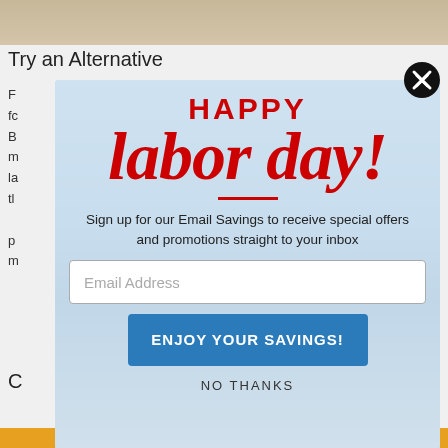[Figure (screenshot): Background webpage with 'Try an Alternative' heading and partial article text visible behind a modal popup]
[Figure (infographic): Happy Labor Day modal popup overlay with red text, email signup form, 'ENJOY YOUR SAVINGS!' button, and 'NO THANKS' link on a light blue background with city/building imagery]
HAPPY
labor day!
Sign up for our Email Savings to receive special offers and promotions straight to your inbox
Email Address
ENJOY YOUR SAVINGS!
NO THANKS